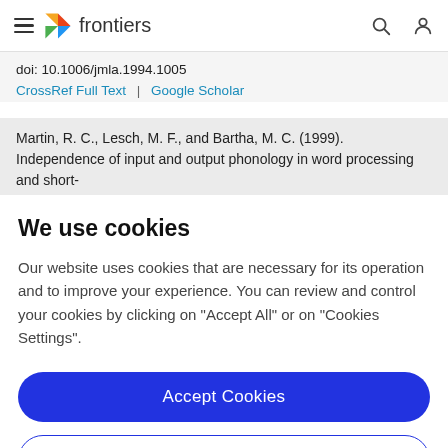frontiers
doi: 10.1006/jmla.1994.1005
CrossRef Full Text | Google Scholar
Martin, R. C., Lesch, M. F., and Bartha, M. C. (1999). Independence of input and output phonology in word processing and short-
We use cookies
Our website uses cookies that are necessary for its operation and to improve your experience. You can review and control your cookies by clicking on "Accept All" or on "Cookies Settings".
Accept Cookies
Cookies Settings